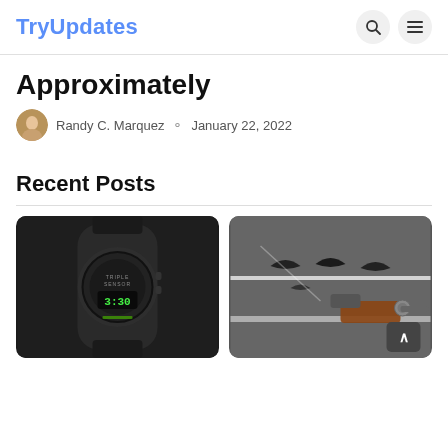TryUpdates
Approximately
Randy C. Marquez  ⊙ January 22, 2022
Recent Posts
[Figure (photo): Black digital watch with Triple Sensor and green accents showing time 3:30]
[Figure (photo): Display case with Batman batarangs and a revolver with wooden grip]